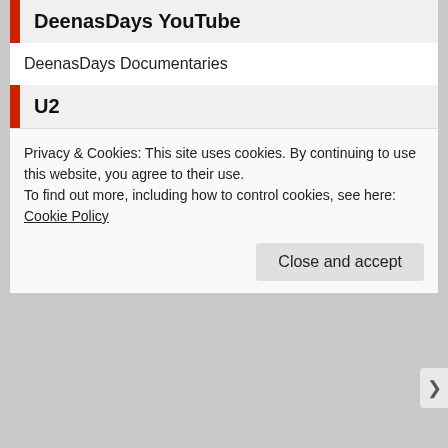DeenasDays YouTube
DeenasDays Documentaries
U2
On the Road with U2 blog
Have you still not found what you’re looking for?
To search, type and hit enter
Privacy & Cookies: This site uses cookies. By continuing to use this website, you agree to their use.
To find out more, including how to control cookies, see here: Cookie Policy
Close and accept